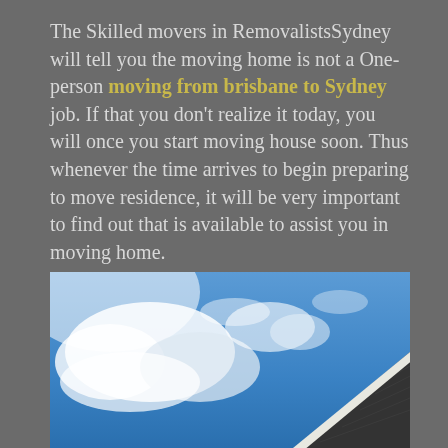The Skilled movers in RemovalistsSydney will tell you the moving home is not a One-person moving from brisbane to Sydney job. If that you don't realize it today, you will once you start moving house soon. Thus whenever the time arrives to begin preparing to move residence, it will be very important to find out that is available to assist you in moving home.
[Figure (photo): Photo of blue sky with white clouds and the rooftop/corner of a house with dark shingles visible in the lower right.]